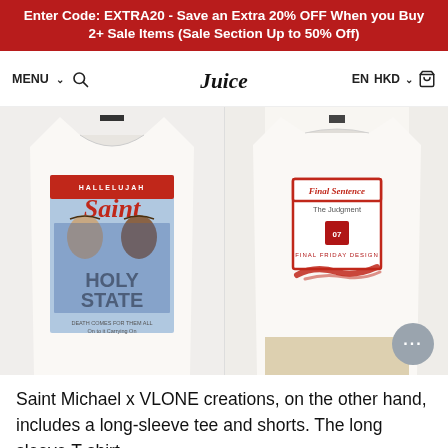Enter Code: EXTRA20 - Save an Extra 20% OFF When you Buy 2+ Sale Items (Sale Section Up to 50% Off)
MENU  [search icon]  Juice [logo]  EN  HKD  [cart icon]
[Figure (photo): Two side-by-side product photos of a white t-shirt. Left side shows front of shirt with graphic print depicting two figures with crowns of thorns, text reading 'Saint' in large red letters, 'HALLELUJAH' above, 'HOLY STATE' in large letters, on a magazine-style cover design. Right side shows the back of the same white t-shirt worn by a model, featuring a red boxed graphic reading 'Final Sentence', 'The Judgment', 'Final Friday Design', with a red brushstroke signature at the bottom.]
Saint Michael x VLONE creations, on the other hand, includes a long-sleeve tee and shorts. The long sleeve T-shirt